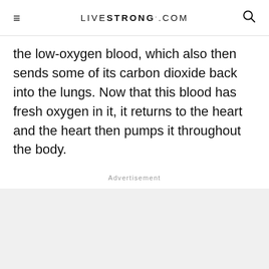LIVESTRONG.COM
the low-oxygen blood, which also then sends some of its carbon dioxide back into the lungs. Now that this blood has fresh oxygen in it, it returns to the heart and the heart then pumps it throughout the body.
Advertisement